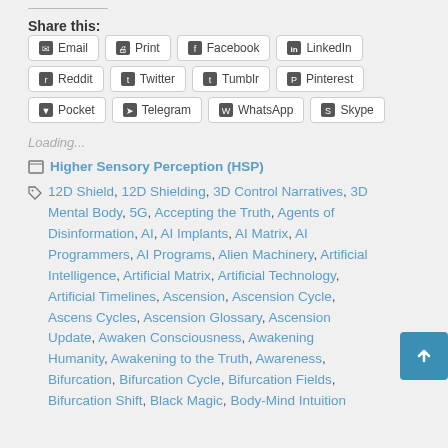Share this:
Email, Print, Facebook, LinkedIn, Reddit, Twitter, Tumblr, Pinterest, Pocket, Telegram, WhatsApp, Skype
Loading...
Higher Sensory Perception (HSP)
12D Shield, 12D Shielding, 3D Control Narratives, 3D Mental Body, 5G, Accepting the Truth, Agents of Disinformation, AI, AI Implants, AI Matrix, AI Programmers, AI Programs, Alien Machinery, Artificial Intelligence, Artificial Matrix, Artificial Technology, Artificial Timelines, Ascension, Ascension Cycle, Ascension Cycles, Ascension Glossary, Ascension Update, Awakening Consciousness, Awakening Humanity, Awakening to the Truth, Awareness, Bifurcation, Bifurcation Cycle, Bifurcation Fields, Bifurcation Shift, Black Magic, Body-Mind Intuition